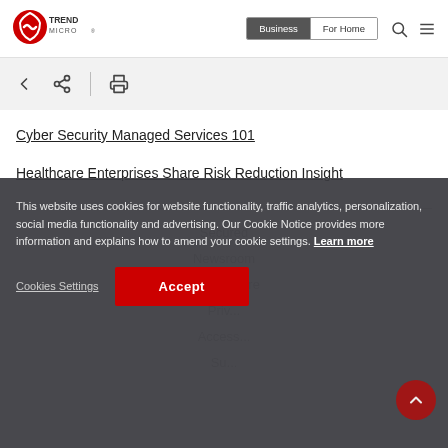[Figure (logo): Trend Micro logo — red circular shield icon with TREND MICRO text]
[Figure (screenshot): Navigation toolbar with Business (active) and For Home tabs, search icon, hamburger menu icon]
[Figure (screenshot): Toolbar with back arrow, share icon, separator, and print icon]
Cyber Security Managed Services 101
Healthcare Enterprises Share Risk Reduction Insight
This website uses cookies for website functionality, traffic analytics, personalization, social media functionality and advertising. Our Cookie Notice provides more information and explains how to amend your cookie settings. Learn more
Cookies Settings
Accept